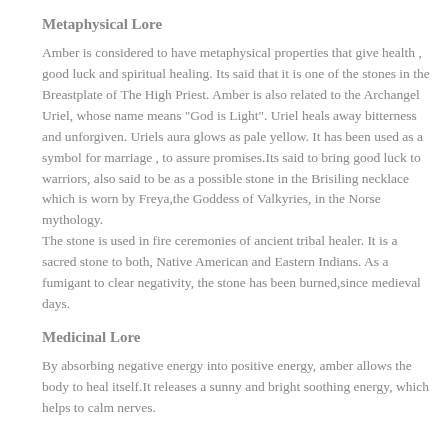Metaphysical Lore
Amber is considered to have metaphysical properties that give health , good luck and spiritual healing. Its said that it is one of the stones in the Breastplate of The High Priest. Amber is also related to the Archangel Uriel, whose name means "God is Light". Uriel heals away bitterness and unforgiven. Uriels aura glows as pale yellow. It has been used as a symbol for marriage , to assure promises.Its said to bring good luck to warriors, also said to be as a possible stone in the Brisiling necklace which is worn by Freya,the Goddess of Valkyries, in the Norse mythology.
The stone is used in fire ceremonies of ancient tribal healer. It is a sacred stone to both, Native American and Eastern Indians. As a fumigant to clear negativity, the stone has been burned,since medieval days.
Medicinal Lore
By absorbing negative energy into positive energy, amber allows the body to heal itself.It releases a sunny and bright soothing energy, which helps to calm nerves.